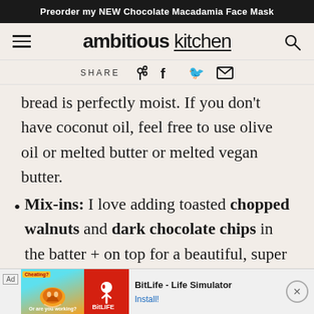Preorder my NEW Chocolate Macadamia Face Mask
ambitious kitchen
SHARE
bread is perfectly moist. If you don't have coconut oil, feel free to use olive oil or melted butter or melted vegan butter.
Mix-ins: I love adding toasted chopped walnuts and dark chocolate chips in the batter + on top for a beautiful, super delicious zucchini bread, but you can really get creative with your mix-ins!
[Figure (screenshot): BitLife - Life Simulator advertisement banner at the bottom of the page]